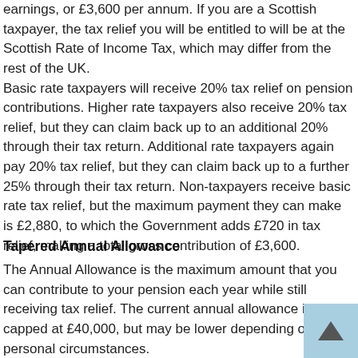earnings, or £3,600 per annum. If you are a Scottish taxpayer, the tax relief you will be entitled to will be at the Scottish Rate of Income Tax, which may differ from the rest of the UK. Basic rate taxpayers will receive 20% tax relief on pension contributions. Higher rate taxpayers also receive 20% tax relief, but they can claim back up to an additional 20% through their tax return. Additional rate taxpayers again pay 20% tax relief, but they can claim back up to a further 25% through their tax return. Non-taxpayers receive basic rate tax relief, but the maximum payment they can make is £2,880, to which the Government adds £720 in tax relief, making a total gross contribution of £3,600.
Tapered Annual Allowance
The Annual Allowance is the maximum amount that you can contribute to your pension each year while still receiving tax relief. The current annual allowance is capped at £40,000, but may be lower depending on your personal circumstances.